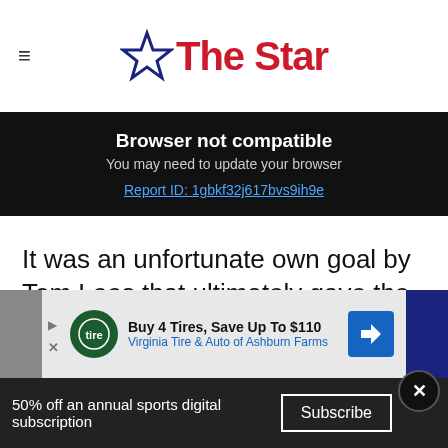The Star
Browser not compatible
You may need to update your browser
Report ID: 1gbkf32j617bvs9ih9e
It was an unfortunate own goal by Tom Lees that ultimately gave the Hornets the three points at Vicarage Road, however there were a couple of offside claims in the build-up that left the Owls disappointed.
[Figure (infographic): Advertisement: Buy 4 Tires, Save Up To $110 — Virginia Tire & Auto of Ashburn Farms]
50% off an annual sports digital subscription   Subscribe